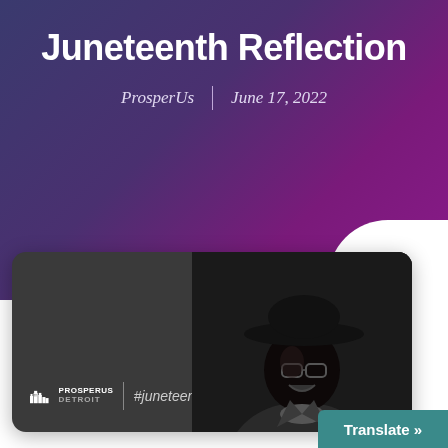Juneteenth Reflection
ProsperUs | June 17, 2022
[Figure (photo): Black and white photo card with ProsperUs logo and #juneteenth text on left, and a Black man wearing a wide-brim hat and glasses, looking upward and smiling, on the right. Dark gray card background with rounded corners.]
Translate »